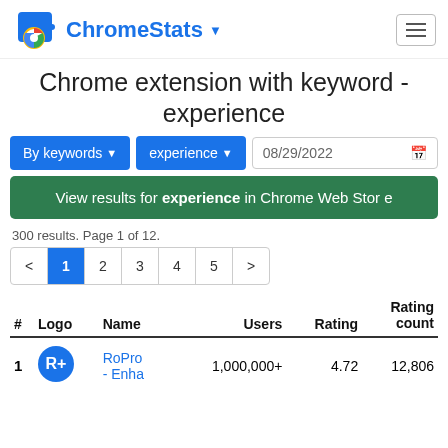ChromeStats
Chrome extension with keyword - experience
By keywords ▼  experience ▼  08/29/2022
View results for experience in Chrome Web Store
300 results. Page 1 of 12.
< 1 2 3 4 5 >
| # | Logo | Name | Users | Rating | Rating count |
| --- | --- | --- | --- | --- | --- |
| 1 | R+ | RoPro - Enha | 1,000,000+ | 4.72 | 12,806 |